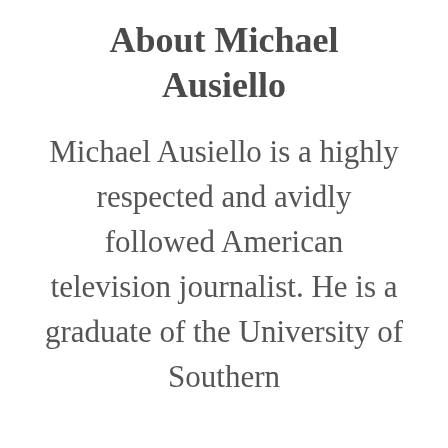About Michael Ausiello
Michael Ausiello is a highly respected and avidly followed American television journalist. He is a graduate of the University of Southern